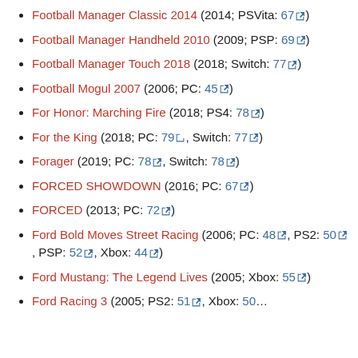Football Manager Classic 2014 (2014; PSVita: 67)
Football Manager Handheld 2010 (2009; PSP: 69)
Football Manager Touch 2018 (2018; Switch: 77)
Football Mogul 2007 (2006; PC: 45)
For Honor: Marching Fire (2018; PS4: 78)
For the King (2018; PC: 79, Switch: 77)
Forager (2019; PC: 78, Switch: 78)
FORCED SHOWDOWN (2016; PC: 67)
FORCED (2013; PC: 72)
Ford Bold Moves Street Racing (2006; PC: 48, PS2: 50, PSP: 52, Xbox: 44)
Ford Mustang: The Legend Lives (2005; Xbox: 55)
Ford Racing 3 (2005; PS2: 51, Xbox: 50...)